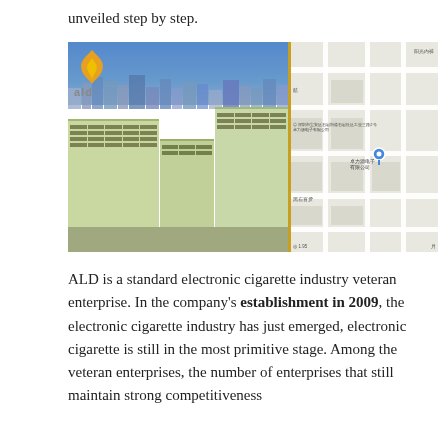unveiled step by step.
[Figure (photo): Left half: aerial photo of ALD company factory buildings (light green multi-story industrial complex) with city skyline in background and ALD logo overlay. Right half: Chinese street map showing the factory location with a blue pin marker and Chinese address text.]
ALD is a standard electronic cigarette industry veteran enterprise. In the company's establishment in 2009, the electronic cigarette industry has just emerged, electronic cigarette is still in the most primitive stage. Among the veteran enterprises, the number of enterprises that still maintain strong competitiveness